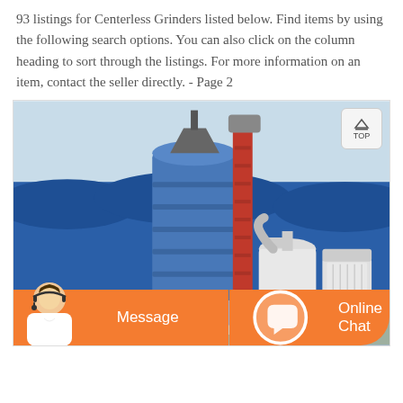93 listings for Centerless Grinders listed below. Find items by using the following search options. You can also click on the column heading to sort through the listings. For more information on an item, contact the seller directly. - Page 2
[Figure (photo): Industrial grinding/milling equipment installation showing a tall blue cylindrical silo with a red vertical conveyor/elevator, and white separator/cyclone units, set against blue warehouse or storage building walls in background.]